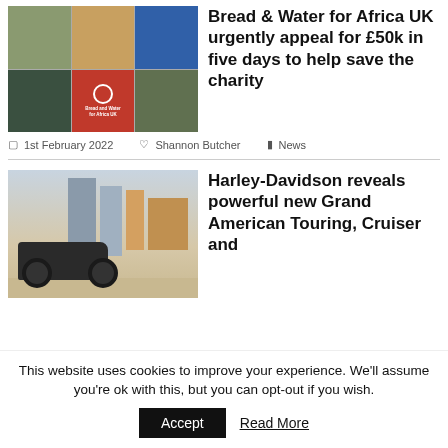[Figure (photo): Collage of six photos showing African children and people, with a red Bread and Water for Africa UK logo panel in the center]
Bread & Water for Africa UK urgently appeal for £50k in five days to help save the charity
1st February 2022   Shannon Butcher   News
[Figure (photo): Harley-Davidson motorcycle being ridden in front of modern skyscrapers]
Harley-Davidson reveals powerful new Grand American Touring, Cruiser and
This website uses cookies to improve your experience. We'll assume you're ok with this, but you can opt-out if you wish.